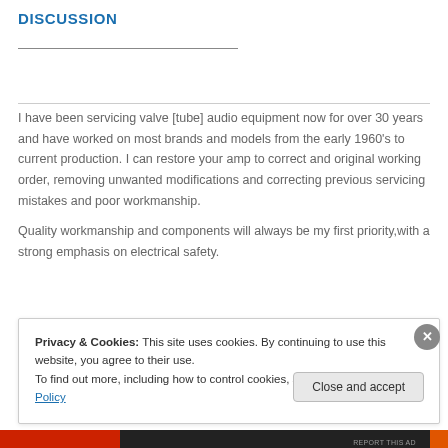DISCUSSION
I have been servicing valve [tube] audio equipment now for over 30 years and have worked on most brands and models from the early 1960's to current production. I can restore your amp to correct and original working order, removing unwanted modifications and correcting previous servicing mistakes and poor workmanship.

Quality workmanship and components will always be my first priority,with a strong emphasis on electrical safety.
Privacy & Cookies: This site uses cookies. By continuing to use this website, you agree to their use.
To find out more, including how to control cookies, see here: Cookie Policy
Close and accept